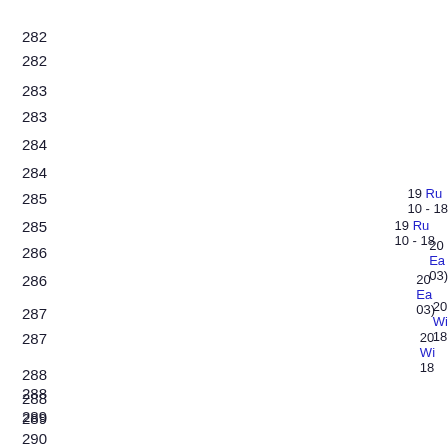282
283
284
285
286
287
288
289
290
19 Ru... 10 - 18...
20 Ea... 03)...
20 Wi... 18...